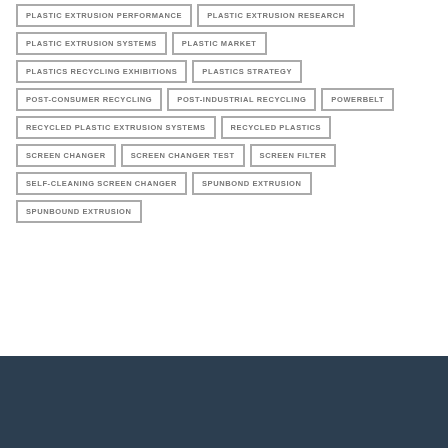PLASTIC EXTRUSION PERFORMANCE
PLASTIC EXTRUSION RESEARCH
PLASTIC EXTRUSION SYSTEMS
PLASTIC MARKET
PLASTICS RECYCLING EXHIBITIONS
PLASTICS STRATEGY
POST-CONSUMER RECYCLING
POST-INDUSTRIAL RECYCLING
POWERBELT
RECYCLED PLASTIC EXTRUSION SYSTEMS
RECYCLED PLASTICS
SCREEN CHANGER
SCREEN CHANGER TEST
SCREEN FILTER
SELF-CLEANING SCREEN CHANGER
SPUNBOND EXTRUSION
SPUNBOUND EXTRUSION